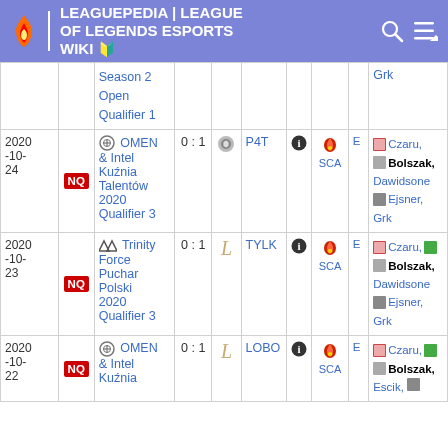LEAGUEPEDIA | LEAGUE OF LEGENDS ESPORTS WIKI
| Date | NQ | Team / Tournament | Score | Opp Icon | Opponent | Info | SCA | E | Players |
| --- | --- | --- | --- | --- | --- | --- | --- | --- | --- |
|  |  | Season 2 Open Qualifier 1 |  |  |  |  |  |  | Grk |
| 2020-10-24 | NQ | OMEN & Intel Kuźnia Talentów 2020 Qualifier 3 | 0 : 1 |  | P4T | ℹ | SCA | E | Czaru, Bolszak, Dawidsone, Ejsner, Grk |
| 2020-10-23 | NQ | Trinity Force Puchar Polski 2020 Qualifier 3 | 0 : 1 |  | TYLK | ℹ | SCA | E | Czaru, Bolszak, Dawidsone, Ejsner, Grk |
| 2020-10-22 | NQ | OMEN & Intel Kuźnia | 0 : 1 |  | LOBO | ℹ | SCA | E | Czaru, Bolszak, Escik, |